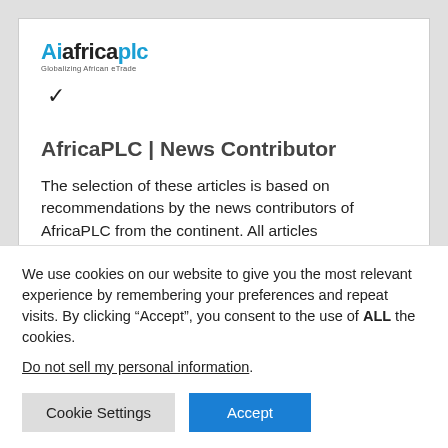[Figure (logo): Ai africaplc logo with tagline 'Globalizing African eTrade' and a checkmark below]
AfricaPLC | News Contributor
The selection of these articles is based on recommendations by the news contributors of AfricaPLC from the continent. All articles
We use cookies on our website to give you the most relevant experience by remembering your preferences and repeat visits. By clicking “Accept”, you consent to the use of ALL the cookies.
Do not sell my personal information.